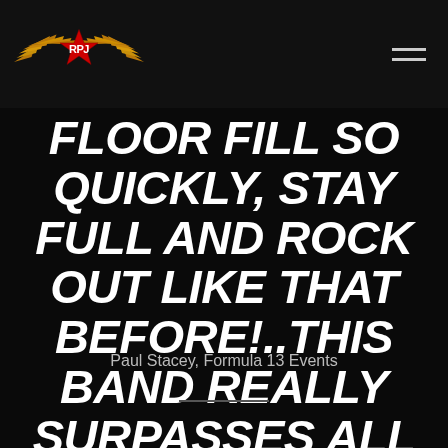RPJ logo and navigation
FLOOR FILL SO QUICKLY, STAY FULL AND ROCK OUT LIKE THAT BEFORE!..THIS BAND REALLY SURPASSES ALL EXPECTATIONS"
Paul Stacey, Formula 13 Events